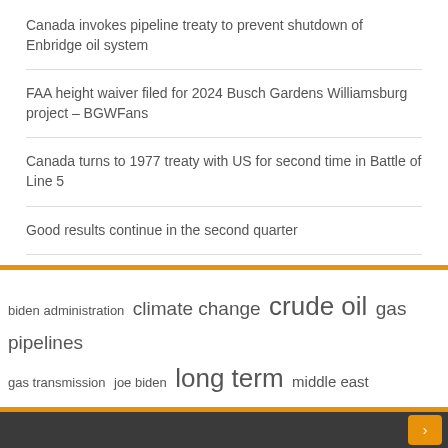Canada invokes pipeline treaty to prevent shutdown of Enbridge oil system
FAA height waiver filed for 2024 Busch Gardens Williamsburg project – BGWFans
Canada turns to 1977 treaty with US for second time in Battle of Line 5
Good results continue in the second quarter
[Figure (infographic): Tag cloud with energy and politics related terms in varying font sizes: biden administration, climate change, crude oil, gas pipelines, gas transmission, joe biden, long term, middle east, natural gas, north america, oil gas, oil pipeline, pipeline project, press release, united states]